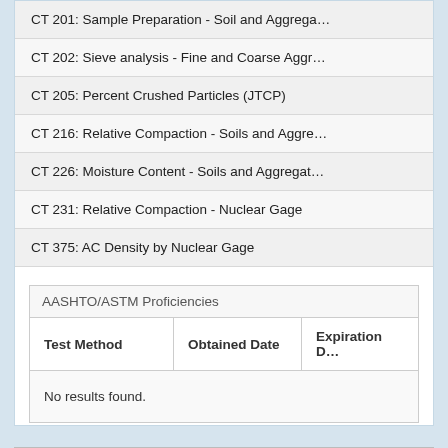CT 201: Sample Preparation - Soil and Aggrega...
CT 202: Sieve analysis - Fine and Coarse Aggr...
CT 205: Percent Crushed Particles (JTCP)
CT 216: Relative Compaction - Soils and Aggre...
CT 226: Moisture Content - Soils and Aggregat...
CT 231: Relative Compaction - Nuclear Gage
CT 375: AC Density by Nuclear Gage
| Test Method | Obtained Date | Expiration D... |
| --- | --- | --- |
| No results found. |  |  |